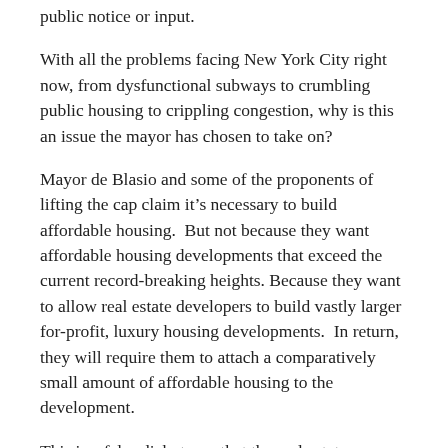public notice or input.
With all the problems facing New York City right now, from dysfunctional subways to crumbling public housing to crippling congestion, why is this an issue the mayor has chosen to take on?
Mayor de Blasio and some of the proponents of lifting the cap claim it’s necessary to build affordable housing.  But not because they want affordable housing developments that exceed the current record-breaking heights. Because they want to allow real estate developers to build vastly larger for-profit, luxury housing developments.  In return, they will require them to attach a comparatively small amount of affordable housing to the development.
This is a false dichotomy that the real estate industry has promulgated and the mayor has endorsed – that the best and, in many cases, only way to get new affordable